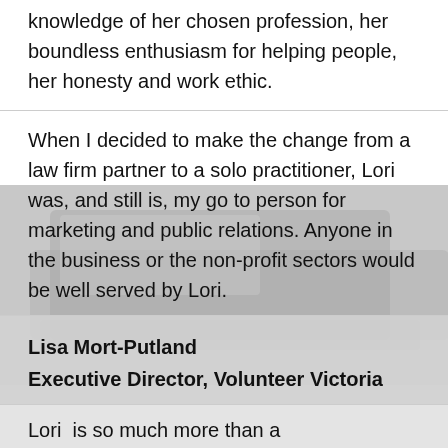knowledge of her chosen profession, her boundless enthusiasm for helping people, her honesty and work ethic.
When I decided to make the change from a law firm partner to a solo practitioner, Lori was, and still is, my go to person for marketing and public relations. Anyone in the business or the non-profit sectors would be well served by Lori.
Lisa Mort-Putland
Executive Director, Volunteer Victoria
Lori  is so much more than a communications specialist with excellent skills. She cares about people and their journey, she understands the